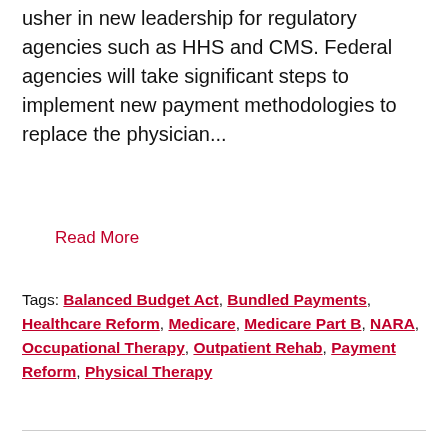usher in new leadership for regulatory agencies such as HHS and CMS. Federal agencies will take significant steps to implement new payment methodologies to replace the physician...
Read More
Tags: Balanced Budget Act, Bundled Payments, Healthcare Reform, Medicare, Medicare Part B, NARA, Occupational Therapy, Outpatient Rehab, Payment Reform, Physical Therapy
Capping Problems: Cause vs Effect
February 23, 2015